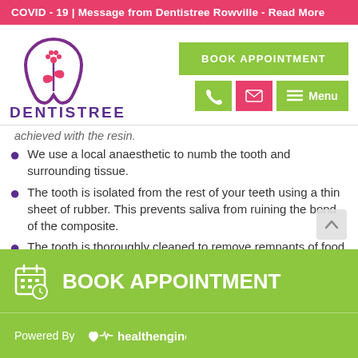COVID - 19 | Message from Dentistree Rowville - Read More
[Figure (logo): Dentistree logo: purple tooth shape with decorative plant/flower element inside]
DENTISTREE
[Figure (infographic): BOOK APPOINTMENT green button, phone icon (green), email icon (pink), menu icon (green) navigation elements]
achieved with the resin.
We use a local anaesthetic to numb the tooth and surrounding tissue.
The tooth is isolated from the rest of your teeth using a thin sheet of rubber. This prevents saliva from ruining the bond of the composite.
The tooth is thoroughly cleaned to remove remnants of food, plaque, and tarter.
BOOK APPOINTMENT
Powered By healthengine